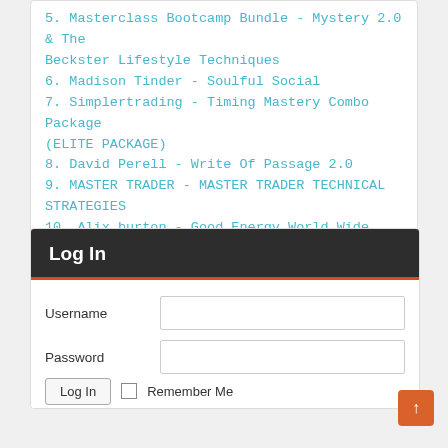5. Masterclass Bootcamp Bundle - Mystery 2.0 & The Beckster Lifestyle Techniques
6. Madison Tinder - Soulful Social
7. Simplertrading - Timing Mastery Combo Package (ELITE PACKAGE)
8. David Perell - Write Of Passage 2.0
9. MASTER TRADER - MASTER TRADER TECHNICAL STRATEGIES
10. Alix burton - Good Energy World Wide
Log In
Username
Password
Log In
Remember Me